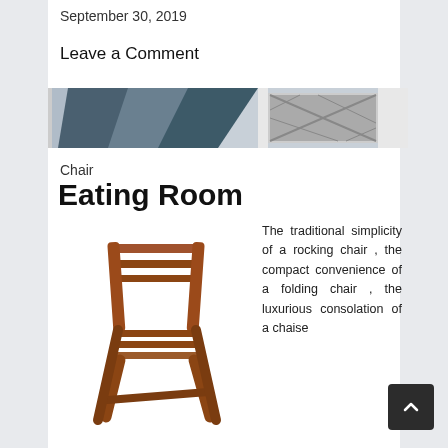September 30, 2019
Leave a Comment
[Figure (photo): Decorative interior image strip showing geometric patterned wall art in teal/blue tones and a framed artwork on the right]
Chair
Eating Room
[Figure (photo): A wooden folding chair with slatted back and seat in a warm brown finish, shown against white background]
The traditional simplicity of a rocking chair , the compact convenience of a folding chair , the luxurious consolation of a chaise